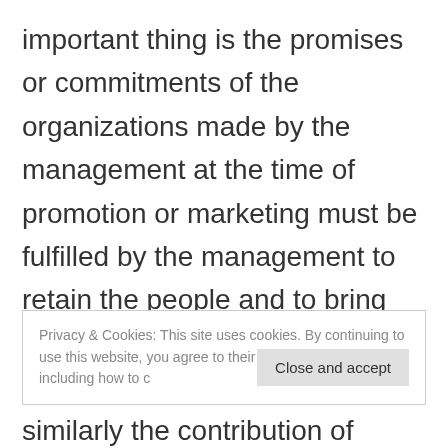important thing is the promises or commitments of the organizations made by the management at the time of promotion or marketing must be fulfilled by the management to retain the people and to bring loyalty among the employees and among the clients as well, similarly the contribution of
Privacy & Cookies: This site uses cookies. By continuing to use this website, you agree to their use. To find out more, including how to control cookies, see here: Cookie Policy
Close and accept